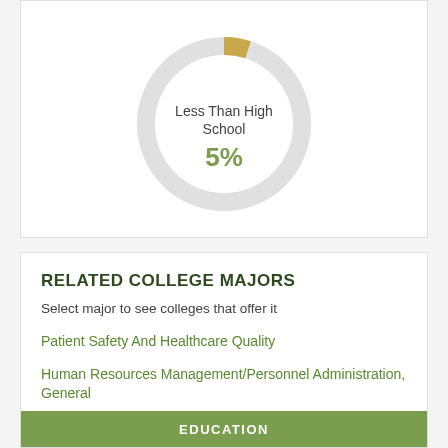[Figure (donut-chart): Less Than High School]
RELATED COLLEGE MAJORS
Select major to see colleges that offer it
Patient Safety And Healthcare Quality
Human Resources Management/Personnel Administration, General
Environmental Science
EDUCATION